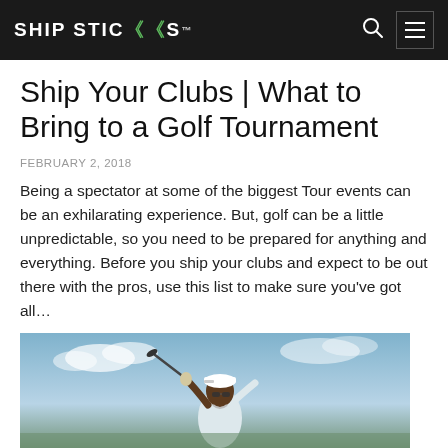SHIP STICKS
Ship Your Clubs | What to Bring to a Golf Tournament
FEBRUARY 2, 2018
Being a spectator at some of the biggest Tour events can be an exhilarating experience. But, golf can be a little unpredictable, so you need to be prepared for anything and everything. Before you ship your clubs and expect to be out there with the pros, use this list to make sure you've got all…
[Figure (photo): A golfer mid-swing wearing a white polo shirt, white cap, and sunglasses against a blue sky background]